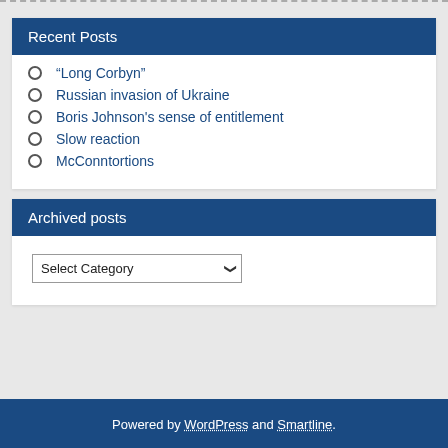Recent Posts
“Long Corbyn”
Russian invasion of Ukraine
Boris Johnson's sense of entitlement
Slow reaction
McConntortions
Archived posts
Select Category
Powered by WordPress and Smartline.